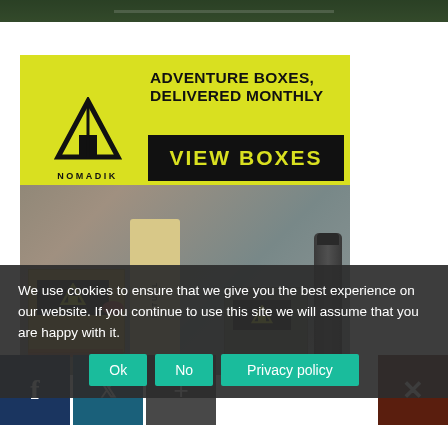[Figure (photo): Top strip of a webpage showing a dark green background image partially visible at the top]
[Figure (advertisement): Nomadik adventure subscription box advertisement with yellow background, triangle logo, text ADVENTURE BOXES DELIVERED MONTHLY, VIEW BOXES button, and product photo showing boxes, bags, accessories and a water bottle]
We use cookies to ensure that we give you the best experience on our website. If you continue to use this site we will assume that you are happy with it.
[Figure (other): Cookie consent buttons: Ok, No, Privacy policy, and social share buttons for Facebook, Twitter, Google Plus, and a close button]